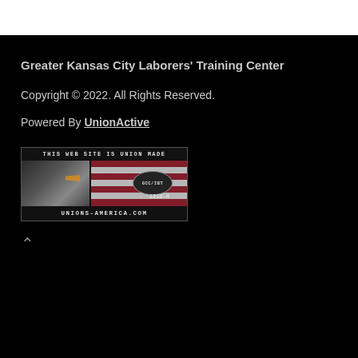Greater Kansas City Laborers' Training Center
Copyright © 2022. All Rights Reserved.
Powered By UnionActive
[Figure (logo): Union Made badge with bald eagle and American flag. Text reads: THIS WEB SITE IS UNION MADE, GCC/IBT, 1218-M, UNIONS-AMERICA.COM]
^